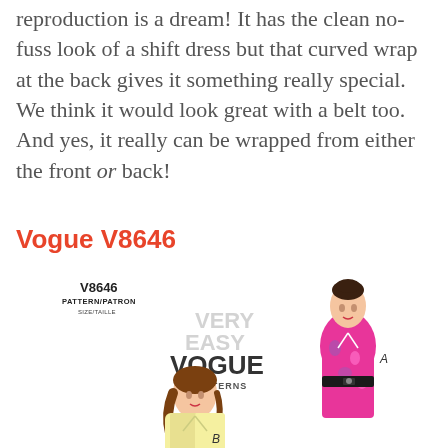reproduction is a dream! It has the clean no-fuss look of a shift dress but that curved wrap at the back gives it something really special. We think it would look great with a belt too. And yes, it really can be wrapped from either the front or back!
Vogue V8646
[Figure (illustration): Vogue V8646 sewing pattern envelope illustration showing two fashion figures: View A shows a woman in a bright pink floral wrap dress with a black belt, View B shows a woman in a light yellow wrap top. The pattern label reads 'V8646 PATTERN/PATRON SIZE/TAILLE' and 'VERY EASY VOGUE PATTERNS'.]